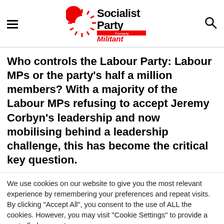Socialist Party — Formerly Militant
Who controls the Labour Party: Labour MPs or the party's half a million members? With a majority of the Labour MPs refusing to accept Jeremy Corbyn's leadership and now mobilising behind a leadership challenge, this has become the critical key question.
We use cookies on our website to give you the most relevant experience by remembering your preferences and repeat visits. By clicking "Accept All", you consent to the use of ALL the cookies. However, you may visit "Cookie Settings" to provide a controlled consent.